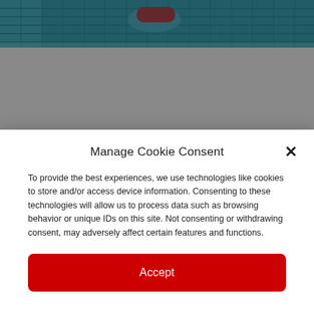[Figure (photo): Partial view of a person in a swimming pool with blue mosaic tiles, cropped at top of page]
Manage Cookie Consent
To provide the best experiences, we use technologies like cookies to store and/or access device information. Consenting to these technologies will allow us to process data such as browsing behavior or unique IDs on this site. Not consenting or withdrawing consent, may adversely affect certain features and functions.
Accept
Opt-out preferences  Privacy Statement